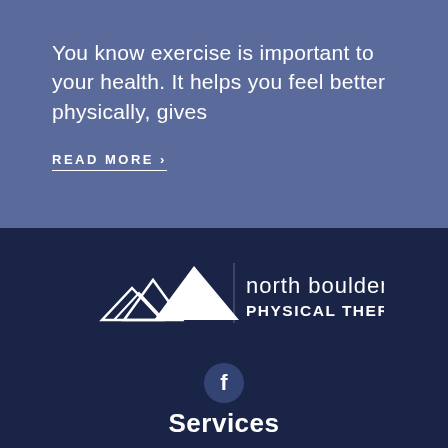You know exercise is important to your health. It helps you feel better physically, gives
READ MORE >
[Figure (logo): North Boulder Physical Therapy logo with mountain graphic and text 'north boulder PHYSICAL THERAPY']
[Figure (other): Facebook social media icon (circle with 'f' letter)]
Services